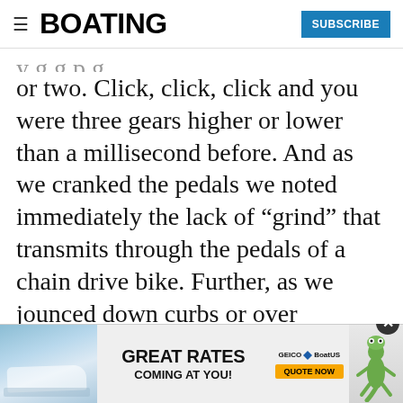BOATING | SUBSCRIBE
or two. Click, click, click and you were three gears higher or lower than a millisecond before. And as we cranked the pedals we noted immediately the lack of “grind” that transmits through the pedals of a chain drive bike. Further, as we jounced down curbs or over potholes, there was no slap or clank or chain sag, inherent with a temperamental derailleur. The drive was so rare, even the bike shop
[Figure (infographic): Advertisement banner: GEICO BoatUS ad with boat image, 'GREAT RATES COMING AT YOU!' text, GEICO logo, Quote Now button, and gecko mascot]